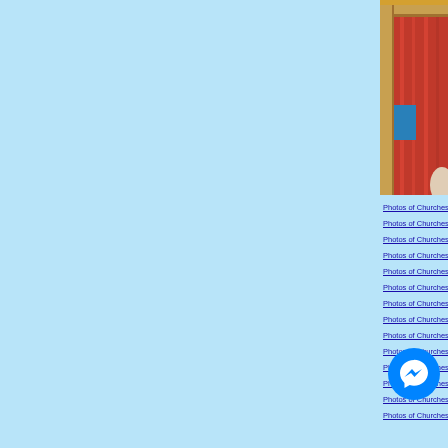[Figure (photo): A wooden-framed doorway or pulpit area with red curtains, a blue stripe, and a partial view of a person, taken inside a church.]
Photos of Churches [
Photos of Churches [
Photos of Churches [
Photos of Churches [
Photos of Churches [
Photos of Churches [
Photos of Churches [
Photos of Churches [
Photos of Churches [
Photos of Churches [
Photos of Churches [
Photos of Churches [
Photos of Churches [
Photos of Churches [
[Figure (logo): Facebook Messenger round blue button icon with white lightning bolt / chat bubble logo]